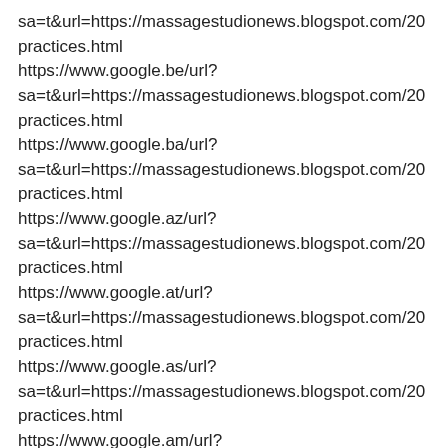sa=t&url=https://massagestudionews.blogspot.com/20…practices.html
https://www.google.be/url?
sa=t&url=https://massagestudionews.blogspot.com/20…practices.html
https://www.google.ba/url?
sa=t&url=https://massagestudionews.blogspot.com/20…practices.html
https://www.google.az/url?
sa=t&url=https://massagestudionews.blogspot.com/20…practices.html
https://www.google.at/url?
sa=t&url=https://massagestudionews.blogspot.com/20…practices.html
https://www.google.as/url?
sa=t&url=https://massagestudionews.blogspot.com/20…practices.html
https://www.google.am/url?